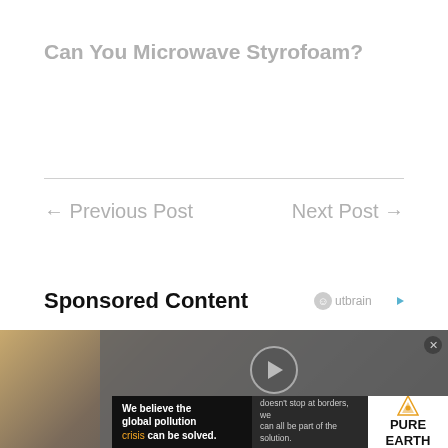Can You Microwave Styrofoam?
← Previous Post
Next Post →
Sponsored Content
[Figure (screenshot): Video player overlay with message 'No compatible source was found for this media.' and play button circle. Below is an advertisement banner for Pure Earth: 'We believe the global pollution crisis can be solved. In a world where pollution doesn't stop at borders, we can all be part of the solution. JOIN US. PURE EARTH']